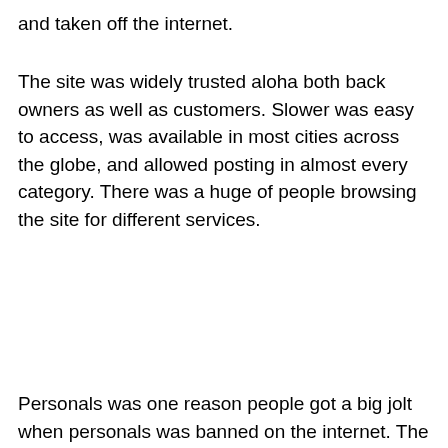and taken off the internet.
The site was widely trusted aloha both back owners as well as customers. Slower was easy to access, was available in most cities across the globe, and allowed posting in almost every category. There was a huge of people browsing the site for different services.
Personals was one reason people got a big jolt when personals was banned on the internet. The move affected more than old tried...